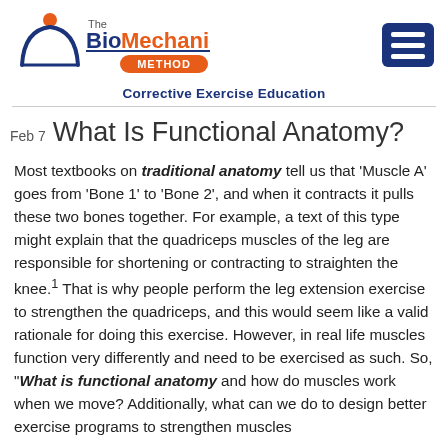[Figure (logo): The BioMechanics Method logo with stylized figure and blue/orange text]
Corrective Exercise Education
Feb 7 What Is Functional Anatomy?
Most textbooks on traditional anatomy tell us that ‘Muscle A’ goes from ‘Bone 1’ to ‘Bone 2’, and when it contracts it pulls these two bones together. For example, a text of this type might explain that the quadriceps muscles of the leg are responsible for shortening or contracting to straighten the knee.¹ That is why people perform the leg extension exercise to strengthen the quadriceps, and this would seem like a valid rationale for doing this exercise. However, in real life muscles function very differently and need to be exercised as such. So, “What is functional anatomy and how do muscles work when we move? Additionally, what can we do to design better exercise programs to strengthen muscles more effectively?